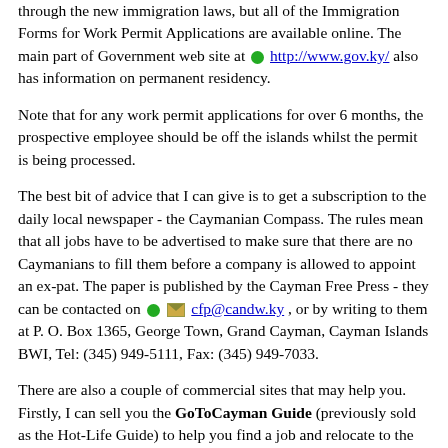through the new immigration laws, but all of the Immigration Forms for Work Permit Applications are available online. The main part of Government web site at http://www.gov.ky/ also has information on permanent residency.
Note that for any work permit applications for over 6 months, the prospective employee should be off the islands whilst the permit is being processed.
The best bit of advice that I can give is to get a subscription to the daily local newspaper - the Caymanian Compass. The rules mean that all jobs have to be advertised to make sure that there are no Caymanians to fill them before a company is allowed to appoint an ex-pat. The paper is published by the Cayman Free Press - they can be contacted on cfp@candw.ky , or by writing to them at P. O. Box 1365, George Town, Grand Cayman, Cayman Islands BWI, Tel: (345) 949-5111, Fax: (345) 949-7033.
There are also a couple of commercial sites that may help you. Firstly, I can sell you the GoToCayman Guide (previously sold as the Hot-Life Guide) to help you find a job and relocate to the islands. It's 90+ pages featuring...